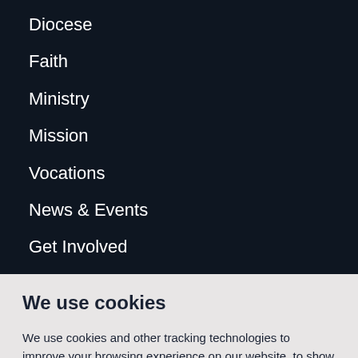Diocese
Faith
Ministry
Mission
Vocations
News & Events
Get Involved
We use cookies
We use cookies and other tracking technologies to improve your browsing experience on our website, to show you personalized content and targeted ads, to analyze our website traffic, and to understand where our visitors are coming from.
I agree
Change my preferences